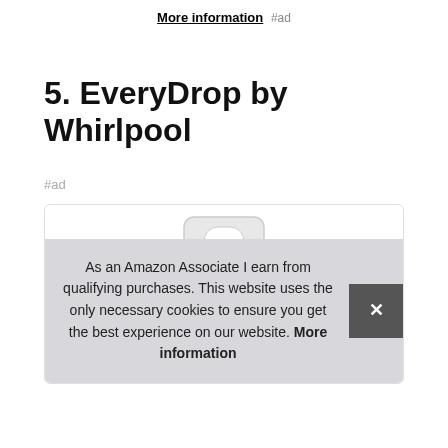More information #ad
5. EveryDrop by Whirlpool
#ad
[Figure (photo): Product image of EveryDrop by Whirlpool water filter with red 'CERTIFIED TO' label band, shown in a product card with a card/tag handle shape at top.]
As an Amazon Associate I earn from qualifying purchases. This website uses the only necessary cookies to ensure you get the best experience on our website. More information